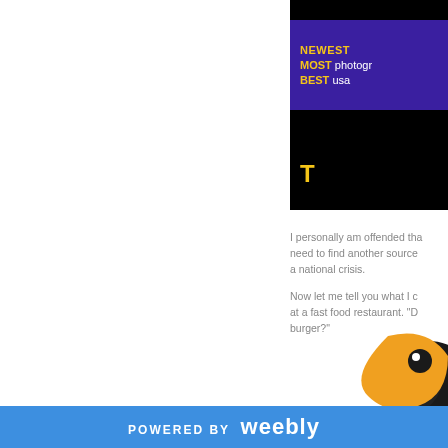[Figure (screenshot): Screenshot of a dark background with a purple bar showing text: NEWEST, MOST photogr..., BEST usa... and a yellow letter T at the bottom]
I personally am offended tha... need to find another source... a national crisis.
Now let me tell you what I c... at a fast food restaurant. “De... burger?”
[Figure (illustration): Partial illustration of a cartoon character face, bottom right]
POWERED BY weebly